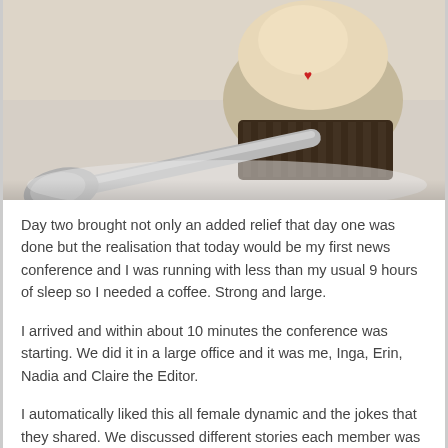[Figure (photo): Close-up photo of a cupcake or pastry in a dark wrapper and a silver spoon on a white surface]
Day two brought not only an added relief that day one was done but the realisation that today would be my first news conference and I was running with less than my usual 9 hours of sleep so I needed a coffee. Strong and large.
I arrived and within about 10 minutes the conference was starting. We did it in a large office and it was me, Inga, Erin, Nadia and Claire the Editor.
I automatically liked this all female dynamic and the jokes that they shared. We discussed different stories each member was going to be working on and some of them included the sexiest public transport line, news and current affairs in particular a police incident and Melbourne Spring Fashion Week.
As I had been working on my Flirt columns, I didn't really have much to bring to the table and I was honestly enjoying just being an observer for this initial meeting.
We left shortly afterwards and I started my day by getting in contact with